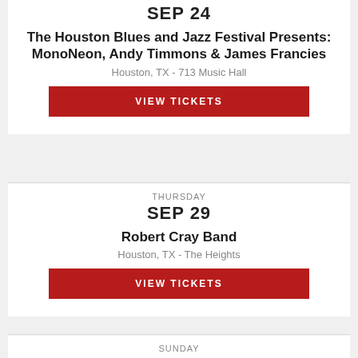SEP 24
The Houston Blues and Jazz Festival Presents: MonoNeon, Andy Timmons & James Francies
Houston, TX - 713 Music Hall
VIEW TICKETS
THURSDAY
SEP 29
Robert Cray Band
Houston, TX - The Heights
VIEW TICKETS
SUNDAY
DEC 4